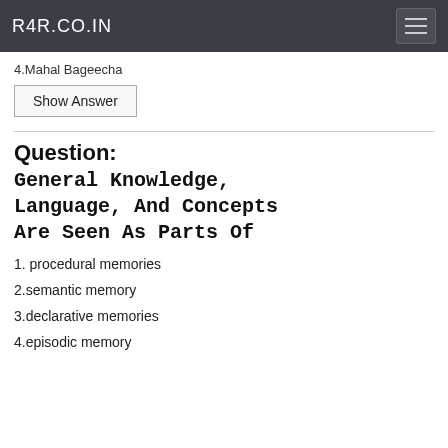R4R.CO.IN
4.Mahal Bageecha
Show Answer
Question: General Knowledge, Language, And Concepts Are Seen As Parts Of
1. procedural memories
2.semantic memory
3.declarative memories
4.episodic memory